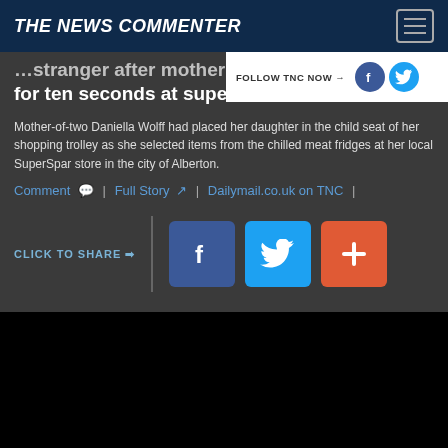THE NEWS COMMENTER
stranger after mother turned her back for ten seconds at supermarket
Mother-of-two Daniella Wolff had placed her daughter in the child seat of her shopping trolley as she selected items from the chilled meat fridges at her local SuperSpar store in the city of Alberton.
Comment | Full Story | Dailymail.co.uk on TNC |
CLICK TO SHARE →